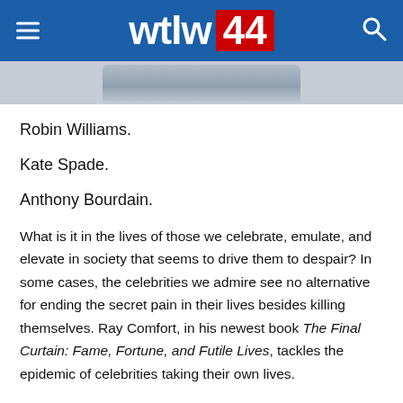wtlw 44
[Figure (photo): Partial view of a book or device, gray/silver tones, cropped at top of page]
Robin Williams.
Kate Spade.
Anthony Bourdain.
What is it in the lives of those we celebrate, emulate, and elevate in society that seems to drive them to despair? In some cases, the celebrities we admire see no alternative for ending the secret pain in their lives besides killing themselves. Ray Comfort, in his newest book The Final Curtain: Fame, Fortune, and Futile Lives, tackles the epidemic of celebrities taking their own lives.